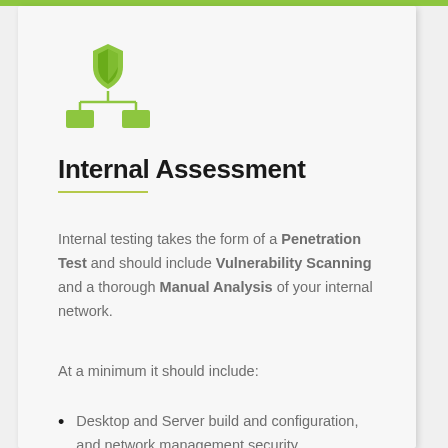[Figure (illustration): Green icon showing a network/hierarchy diagram with a shield at the top and three nodes below connected by lines]
Internal Assessment
Internal testing takes the form of a Penetration Test and should include Vulnerability Scanning and a thorough Manual Analysis of your internal network.
At a minimum it should include:
Desktop and Server build and configuration, and network management security